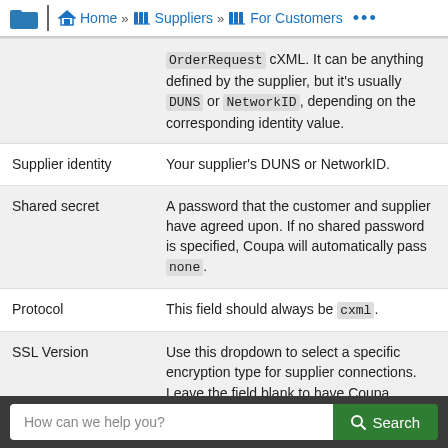Home » Suppliers » For Customers
| Field | Description |
| --- | --- |
|  | OrderRequest cXML. It can be anything defined by the supplier, but it's usually DUNS or NetworkID, depending on the corresponding identity value. |
| Supplier identity | Your supplier's DUNS or NetworkID. |
| Shared secret | A password that the customer and supplier have agreed upon. If no shared password is specified, Coupa will automatically pass none. |
| Protocol | This field should always be cxml. |
| SSL Version | Use this dropdown to select a specific encryption type for supplier connections. Leave the field blank to have Coupa automatically use the highest level of encryption that both Coupa and the Supplier supports. Note: Selecting a specific TLS version can result in an SSL error if the supplier |
How can we help you? Search